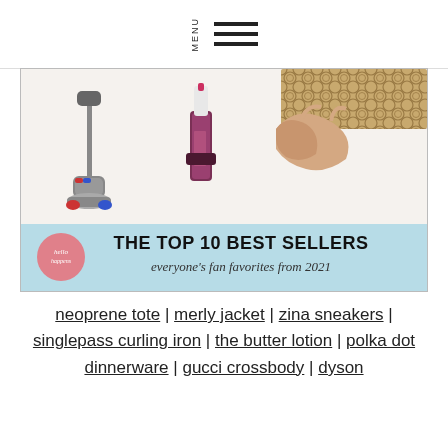MENU
[Figure (photo): Collage of top 10 best sellers including a Dyson vacuum, Laura Mercier lip gloss, a nude bralette, and a Gucci crossbody bag. Banner reads: THE TOP 10 BEST SELLERS everyone's fan favorites from 2021]
neoprene tote | merly jacket | zina sneakers | singlepass curling iron | the butter lotion | polka dot dinnerware | gucci crossbody | dyson